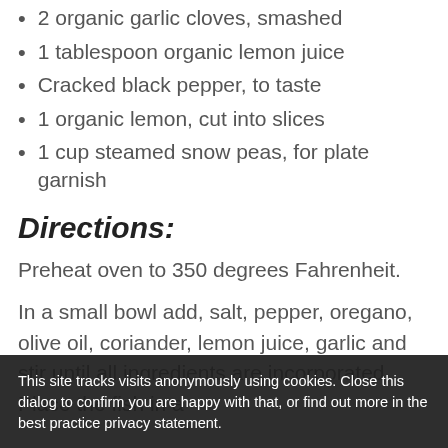2 organic garlic cloves, smashed
1 tablespoon organic lemon juice
Cracked black pepper, to taste
1 organic lemon, cut into slices
1 cup steamed snow peas, for plate garnish
Directions:
Preheat oven to 350 degrees Fahrenheit.
In a small bowl add, salt, pepper, oregano, olive oil, coriander, lemon juice, garlic and stir until all ingredients are incorporated. Place the fish in a
This site tracks visits anonymously using cookies. Close this dialog to confirm you are happy with that, or find out more in the best practice privacy statement.